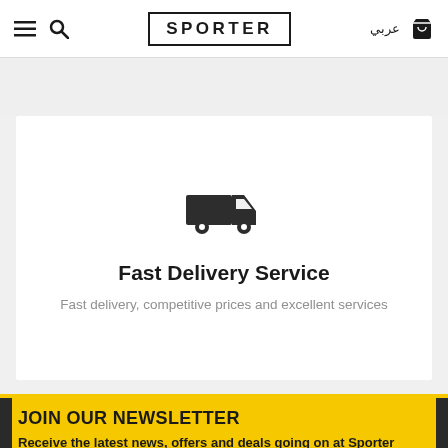SPORTER — navigation header with menu, search, Arabic language toggle, and cart
[Figure (illustration): Delivery truck icon in dark gray]
Fast Delivery Service
Fast delivery, competitive prices and excellent services
JOIN OUR NEWSLETTER
Receive the latest news, offers and deals going on at Sporter
your email address...